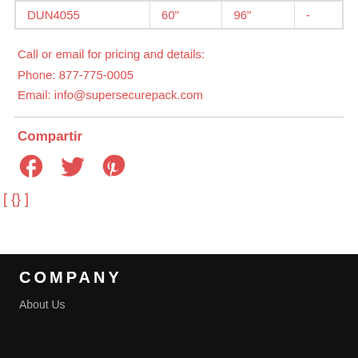| DUN4055 | 60" | 96" | - |
Call or email for pricing and details:
Phone: 877-775-0005
Email: info@supersecurepack.com
Compartir
[Figure (infographic): Social media share icons: Facebook, Twitter, Pinterest]
[ {} ]
COMPANY
About Us